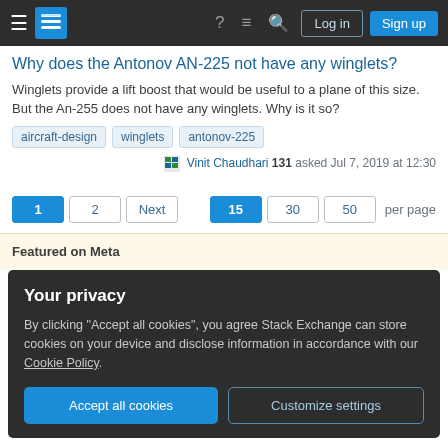Navigation bar with hamburger menu, logo, help, chat, search icons, Log in and Sign up buttons
Why does the Antonov AN-225 not have any winglets?
Winglets provide a lift boost that would be useful to a plane of this size. But the An-255 does not have any winglets. Why is it so?
aircraft-design
winglets
antonov-225
Vinit Chaudhari 131 asked Jul 7, 2019 at 12:30
Pagination: 1 2 Next | 15 30 50 per page
Featured on Meta
Your privacy
By clicking "Accept all cookies", you agree Stack Exchange can store cookies on your device and disclose information in accordance with our Cookie Policy.
Accept all cookies | Customize settings